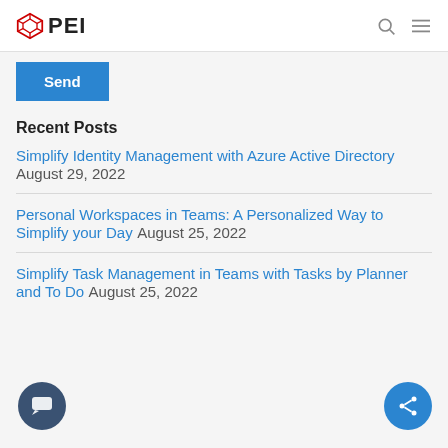PEI
Send
Recent Posts
Simplify Identity Management with Azure Active Directory August 29, 2022
Personal Workspaces in Teams: A Personalized Way to Simplify your Day August 25, 2022
Simplify Task Management in Teams with Tasks by Planner and To Do August 25, 2022